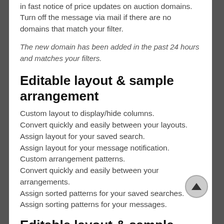in fast notice of price updates on auction domains.
Turn off the message via mail if there are no domains that match your filter.
The new domain has been added in the past 24 hours and matches your filters.
Editable layout & sample arrangement
Custom layout to display/hide columns.
Convert quickly and easily between your layouts.
Assign layout for your saved search.
Assign layout for your message notification.
Custom arrangement patterns.
Convert quickly and easily between your arrangements.
Assign sorted patterns for your saved searches.
Assign sorting patterns for your messages.
Editable layout & sample arrangement
Custom layout to display/hide columns.
Convert quickly and easily between your layouts.
Assign layout for your saved search.